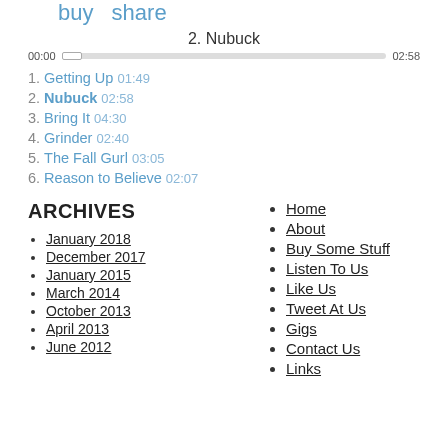buy   share
2. Nubuck
00:00  02:58
1. Getting Up  01:49
2. Nubuck  02:58
3. Bring It  04:30
4. Grinder  02:40
5. The Fall Gurl  03:05
6. Reason to Believe  02:07
ARCHIVES
January 2018
December 2017
January 2015
March 2014
October 2013
April 2013
June 2012
Home
About
Buy Some Stuff
Listen To Us
Like Us
Tweet At Us
Gigs
Contact Us
Links